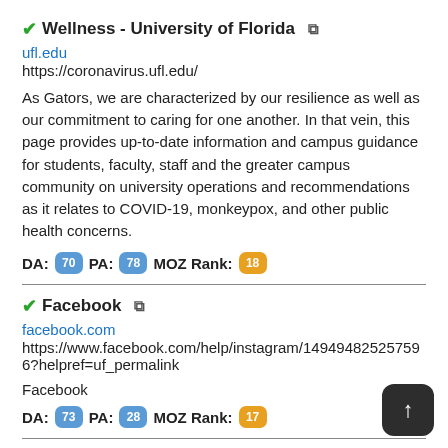✔Wellness - University of Florida 🔗
ufl.edu
https://coronavirus.ufl.edu/
As Gators, we are characterized by our resilience as well as our commitment to caring for one another. In that vein, this page provides up-to-date information and campus guidance for students, faculty, staff and the greater campus community on university operations and recommendations as it relates to COVID-19, monkeypox, and other public health concerns.
DA: 70  PA: 78  MOZ Rank: 18
✔Facebook 🔗
facebook.com
https://www.facebook.com/help/instagram/149494825257596?helpref=uf_permalink
Facebook
DA: 73  PA: 28  MOZ Rank: 17